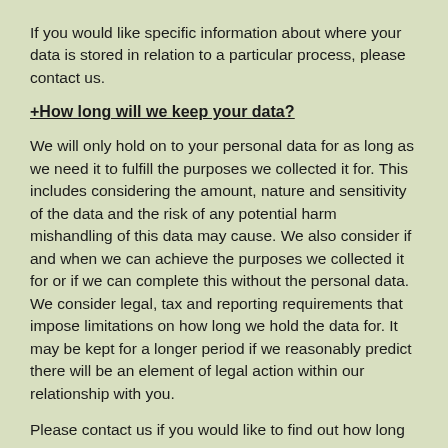If you would like specific information about where your data is stored in relation to a particular process, please contact us.
+How long will we keep your data?
We will only hold on to your personal data for as long as we need it to fulfill the purposes we collected it for. This includes considering the amount, nature and sensitivity of the data and the risk of any potential harm mishandling of this data may cause. We also consider if and when we can achieve the purposes we collected it for or if we can complete this without the personal data. We consider legal, tax and reporting requirements that impose limitations on how long we hold the data for. It may be kept for a longer period if we reasonably predict there will be an element of legal action within our relationship with you.
Please contact us if you would like to find out how long